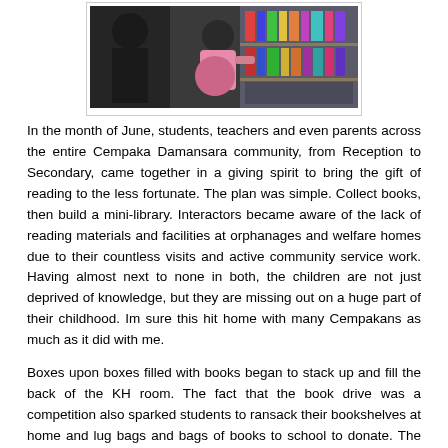[Figure (photo): Children and adults browsing books on a shelf in what appears to be a library or bookroom setting. A child in a pink outfit is visible from behind.]
In the month of June, students, teachers and even parents across the entire Cempaka Damansara community, from Reception to Secondary, came together in a giving spirit to bring the gift of reading to the less fortunate. The plan was simple. Collect books, then build a mini-library. Interactors became aware of the lack of reading materials and facilities at orphanages and welfare homes due to their countless visits and active community service work. Having almost next to none in both, the children are not just deprived of knowledge, but they are missing out on a huge part of their childhood. Im sure this hit home with many Cempakans as much as it did with me.
Boxes upon boxes filled with books began to stack up and fill the back of the KH room. The fact that the book drive was a competition also sparked students to ransack their bookshelves at home and lug bags and bags of books to school to donate. The other half of the campaign, the build-a-mini-library project was greeted with equal amount of enthusiasm from Cempakans. Interact received generous donations from members of our community of tables, chairs, bookshelves and books.